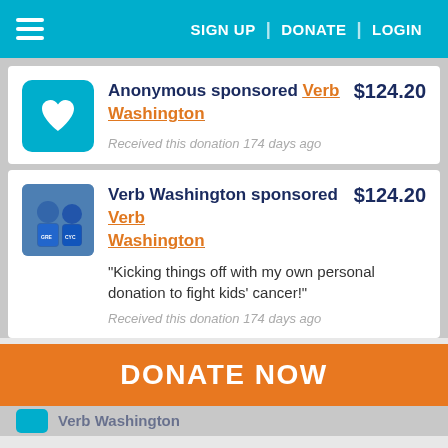SIGN UP | DONATE | LOGIN
Anonymous sponsored Verb Washington $124.20 Received this donation 174 days ago
Verb Washington sponsored Verb Washington $124.20 "Kicking things off with my own personal donation to fight kids' cancer!" Received this donation 174 days ago
DONATE NOW